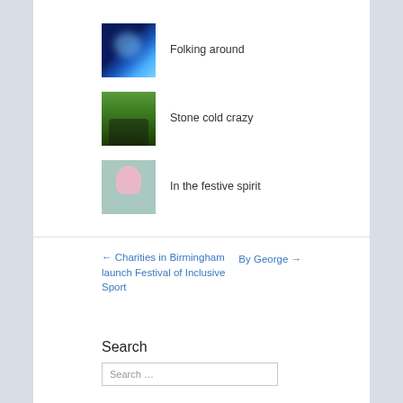Folking around
Stone cold crazy
In the festive spirit
← Charities in Birmingham launch Festival of Inclusive Sport
By George →
Search
Search …